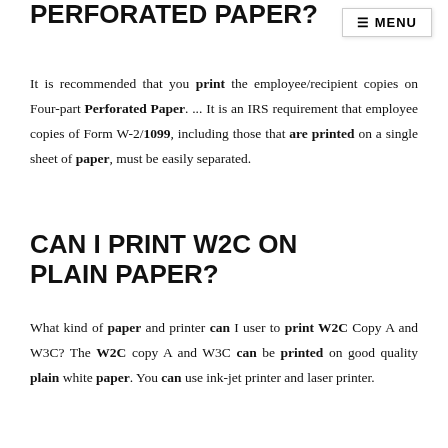PERFORATED PAPER?
It is recommended that you print the employee/recipient copies on Four-part Perforated Paper. ... It is an IRS requirement that employee copies of Form W-2/1099, including those that are printed on a single sheet of paper, must be easily separated.
CAN I PRINT W2C ON PLAIN PAPER?
What kind of paper and printer can I user to print W2C Copy A and W3C? The W2C copy A and W3C can be printed on good quality plain white paper. You can use ink-jet printer and laser printer.